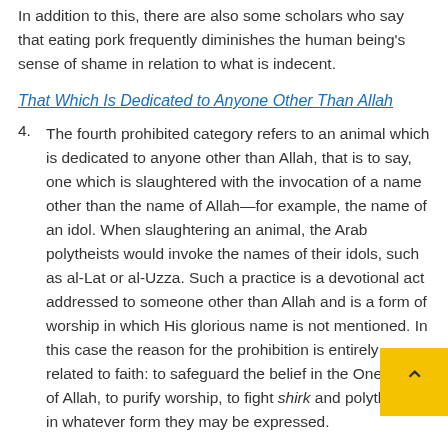In addition to this, there are also some scholars who say that eating pork frequently diminishes the human being's sense of shame in relation to what is indecent.
That Which Is Dedicated to Anyone Other Than Allah
4. The fourth prohibited category refers to an animal which is dedicated to anyone other than Allah, that is to say, one which is slaughtered with the invocation of a name other than the name of Allah—for example, the name of an idol. When slaughtering an animal, the Arab polytheists would invoke the names of their idols, such as al-Lat or al-Uzza. Such a practice is a devotional act addressed to someone other than Allah and is a form of worship in which His glorious name is not mentioned. In this case the reason for the prohibition is entirely related to faith: to safeguard the belief in the Oneness of Allah, to purify worship, to fight shirk and polytheism in whatever form they may be expressed.